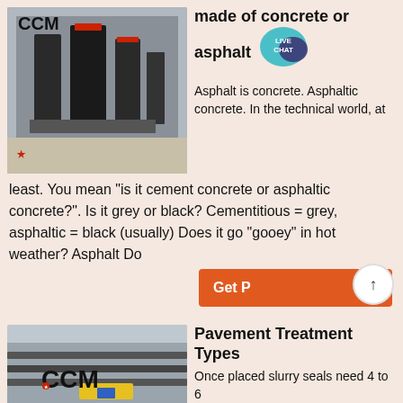[Figure (photo): Industrial milling/grinding machines in a factory setting, CCM logo visible, dark heavy machinery]
made of concrete or asphalt
Asphalt is concrete. Asphaltic concrete. In the technical world, at least. You mean "is it cement concrete or asphaltic concrete?". Is it grey or black? Cementitious = grey, asphaltic = black (usually) Does it go "gooey" in hot weather? Asphalt Do
[Figure (photo): Industrial CCM equipment/machinery on a factory floor with yellow and blue components visible]